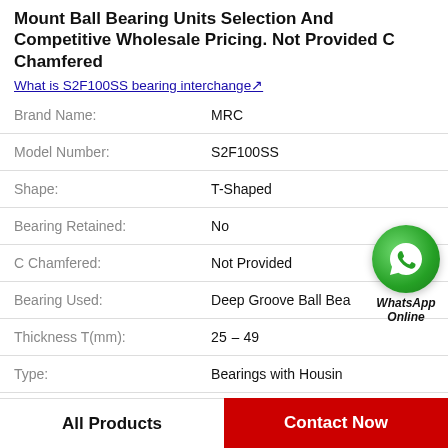Mount Ball Bearing Units Selection And Competitive Wholesale Pricing. Not Provided C Chamfered
What is S2F100SS bearing interchange↗
| Property | Value |
| --- | --- |
| Brand Name: | MRC |
| Model Number: | S2F100SS |
| Shape: | T-Shaped |
| Bearing Retained: | No |
| C Chamfered: | Not Provided |
| Bearing Used: | Deep Groove Ball Bea |
| Thickness T(mm): | 25 ‒ 49 |
| Type: | Bearings with Housin |
[Figure (logo): WhatsApp Online contact widget with green phone icon circle and italic bold label 'WhatsApp Online']
All Products
Contact Now